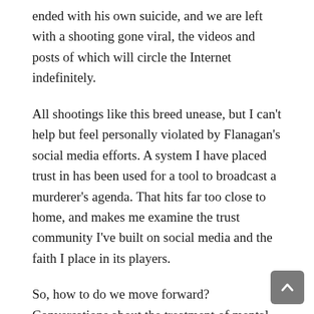ended with his own suicide, and we are left with a shooting gone viral, the videos and posts of which will circle the Internet indefinitely.
All shootings like this breed unease, but I can't help but feel personally violated by Flanagan's social media efforts. A system I have placed trust in has been used for a tool to broadcast a murderer's agenda. That hits far too close to home, and makes me examine the trust community I've built on social media and the faith I place in its players.
So, how to do we move forward? Conversations about the treatment of mental health and gun control policies are vital for change, and should continue until Washington takes action accordingly. Similar incidents have become disturbingly common in recent years, and it is obvious that action on these matters needs to be taken. But I think this is also a time to reflect on social media's capacity both for good and for